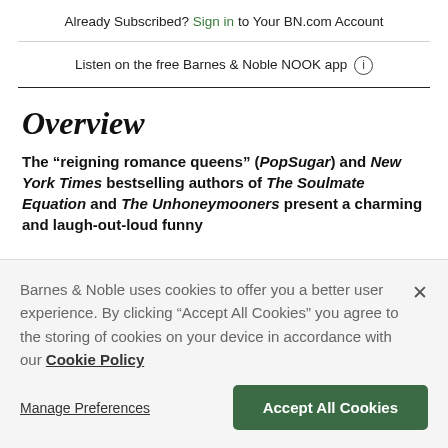Already Subscribed? Sign in to Your BN.com Account
Listen on the free Barnes & Noble NOOK app (i)
Overview
The “reigning romance queens” (PopSugar) and New York Times bestselling authors of The Soulmate Equation and The Unhoneymooners present a charming and laugh-out-loud funny
Barnes & Noble uses cookies to offer you a better user experience. By clicking “Accept All Cookies” you agree to the storing of cookies on your device in accordance with our Cookie Policy
Manage Preferences
Accept All Cookies